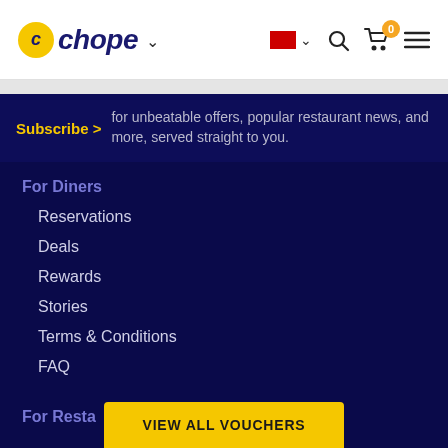Chope — navigation bar with logo, flag, search, cart (0), menu icons
Subscribe > for unbeatable offers, popular restaurant news, and more, served straight to you.
For Diners
Reservations
Deals
Rewards
Stories
Terms & Conditions
FAQ
For Resta
VIEW ALL VOUCHERS